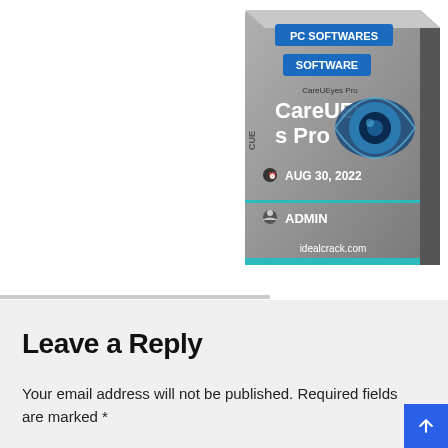[Figure (screenshot): Software card for CareUEyes Pro showing PC SOFTWARES and SOFTWARE tags, product name, eye logo, date AUG 30, 2022, ADMIN, and idealcrack.com]
Leave a Reply
Your email address will not be published. Required fields are marked *